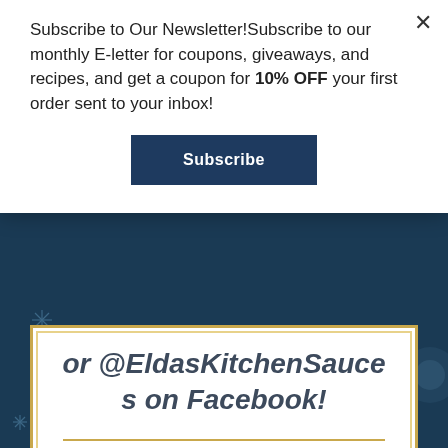[Figure (illustration): Dark navy blue background with decorative sparkle/star elements on the left and right sides]
Subscribe to Our Newsletter!Subscribe to our monthly E-letter for coupons, giveaways, and recipes, and get a coupon for 10% OFF your first order sent to your inbox!
Subscribe
or @EldasKitchenSauces on Facebook!